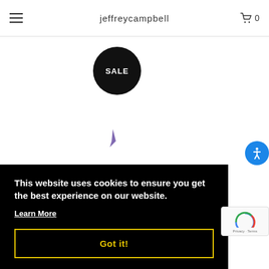jeffreycampbell
[Figure (other): Black circular SALE badge]
[Figure (other): Purple shoe shape partially visible]
This website uses cookies to ensure you get the best experience on our website.
Learn More
Got it!